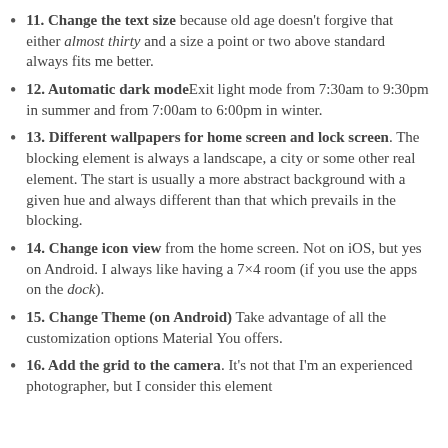11. Change the text size because old age doesn't forgive that either almost thirty and a size a point or two above standard always fits me better.
12. Automatic dark mode Exit light mode from 7:30am to 9:30pm in summer and from 7:00am to 6:00pm in winter.
13. Different wallpapers for home screen and lock screen. The blocking element is always a landscape, a city or some other real element. The start is usually a more abstract background with a given hue and always different than that which prevails in the blocking.
14. Change icon view from the home screen. Not on iOS, but yes on Android. I always like having a 7×4 room (if you use the apps on the dock).
15. Change Theme (on Android) Take advantage of all the customization options Material You offers.
16. Add the grid to the camera. It's not that I'm an experienced photographer, but I consider this element...